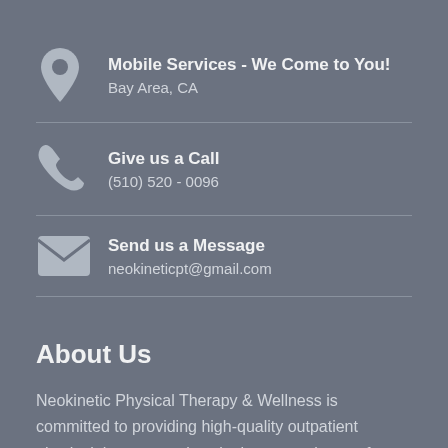Mobile Services - We Come to You!
Bay Area, CA
Give us a Call
(510) 520 - 0096
Send us a Message
neokineticpt@gmail.com
About Us
Neokinetic Physical Therapy & Wellness is committed to providing high-quality outpatient physical therapy services in the convenience of your own home. Our focus is on the patient and our rehabilitation techniques are available for all types of injuries